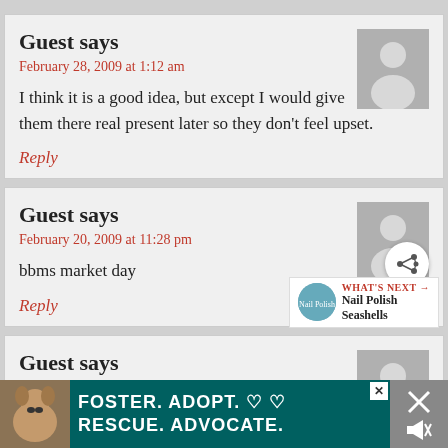Guest says
February 28, 2009 at 1:12 am
I think it is a good idea, but except I would give them there real present later so they don't feel upset.
Reply
Guest says
February 20, 2009 at 11:28 pm
bbms market day
Reply
[Figure (infographic): What's Next widget showing Nail Polish Seashells]
Guest says
[Figure (infographic): Foster. Adopt. Rescue. Advocate. banner ad with dog image]